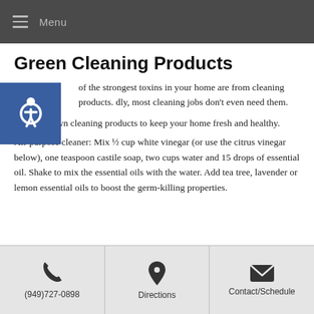Menu
Green Cleaning Products
of the strongest toxins in your home are from cleaning products. dly, most cleaning jobs don't even need them.
Mix your own cleaning products to keep your home fresh and healthy.
All-purpose cleaner: Mix ½ cup white vinegar (or use the citrus vinegar below), one teaspoon castile soap, two cups water and 15 drops of essential oil. Shake to mix the essential oils with the water. Add tea tree, lavender or lemon essential oils to boost the germ-killing properties.
Window cleaner: Mix ¼ cup white vinegar and two cups water. Use in a spritzer bottle. For best results, wipe with a squeegee.
(949)727-0898 | Directions | Contact/Schedule